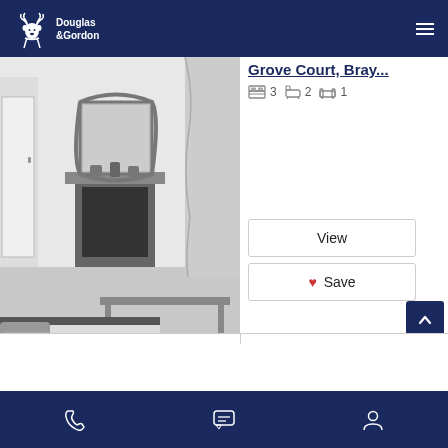Douglas & Gordon
[Figure (photo): Black and white interior photo of a living room with a fireplace, ornate mirror, striped rug, and modern furniture]
Grove Court, Bray...
3 bedrooms, 2 bathrooms, 1 reception
View
Save
Phone | Chat | Account